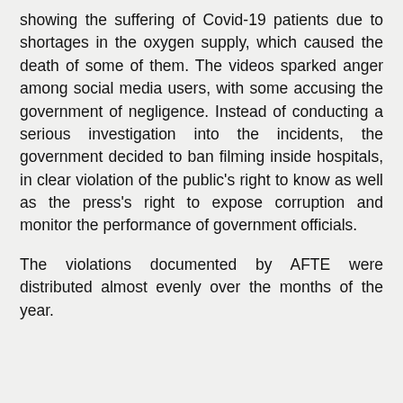showing the suffering of Covid-19 patients due to shortages in the oxygen supply, which caused the death of some of them. The videos sparked anger among social media users, with some accusing the government of negligence. Instead of conducting a serious investigation into the incidents, the government decided to ban filming inside hospitals, in clear violation of the public's right to know as well as the press's right to expose corruption and monitor the performance of government officials.
The violations documented by AFTE were distributed almost evenly over the months of the year.